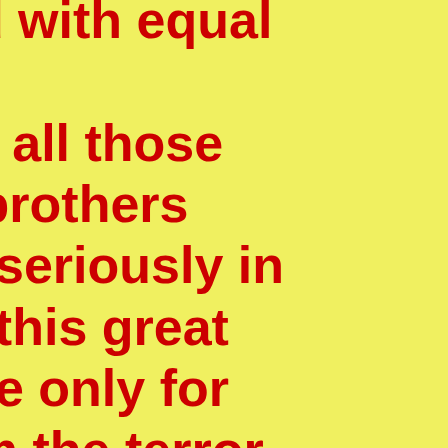ess and with equal rying felt that all those nd my brothers e more seriously in ople to this great pleasure only for ers from the terror re of Hell gn in my country, th Islamic centers,